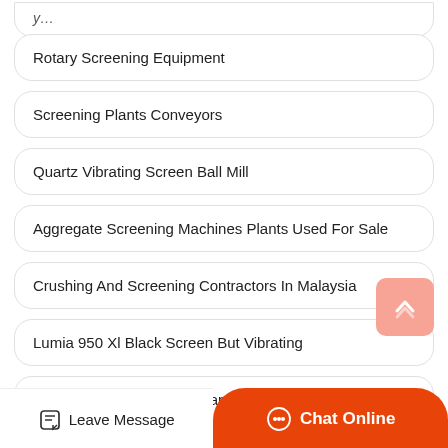Rotary Screening Equipment
Screening Plants Conveyors
Quartz Vibrating Screen Ball Mill
Aggregate Screening Machines Plants Used For Sale
Crushing And Screening Contractors In Malaysia
Lumia 950 Xl Black Screen But Vibrating
Crushing And Screening Handb…